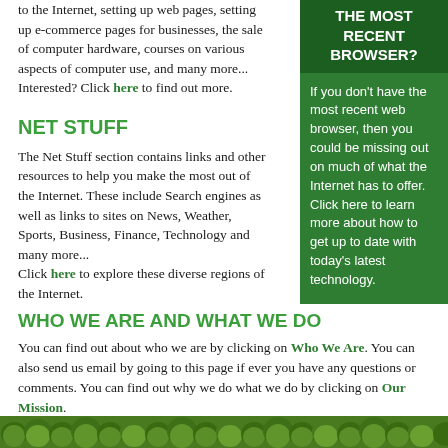to the Internet, setting up web pages, setting up e-commerce pages for businesses, the sale of computer hardware, courses on various aspects of computer use, and many more... Interested? Click here to find out more.
NET STUFF
The Net Stuff section contains links and other resources to help you make the most out of the Internet. These include Search engines as well as links to sites on News, Weather, Sports, Business, Finance, Technology and many more... Click here to explore these diverse regions of the Internet.
THE MOST RECENT BROWSER?
If you don't have the most recent web browser, then you could be missing out on much of what the Internet has to offer. Click here to learn more about how to get up to date with today's latest technology.
WHO WE ARE AND WHAT WE DO
You can find out about who we are by clicking on Who We Are. You can also send us email by going to this page if ever you have any questions or comments. You can find out why we do what we do by clicking on Our Mission.
[Figure (illustration): Green leafy plant border at bottom of page]